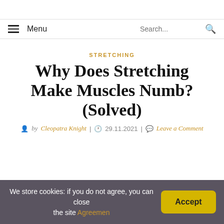Menu | Search...
STRETCHING
Why Does Stretching Make Muscles Numb? (Solved)
by Cleopatra Knight | 29.11.2021 | Leave a Comment
We store cookies: if you do not agree, you can close the site Agreement